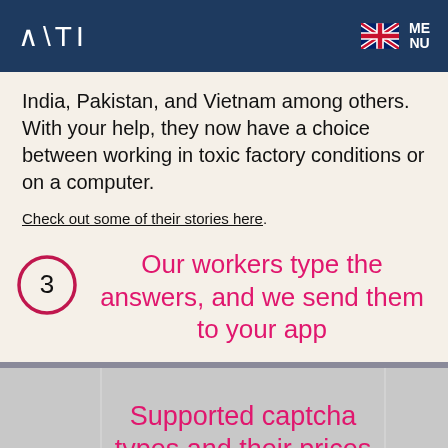AITI — navigation header with logo and menu
India, Pakistan, and Vietnam among others. With your help, they now have a choice between working in toxic factory conditions or on a computer.
Check out some of their stories here.
3 — Our workers type the answers, and we send them to your app
Supported captcha types and their prices